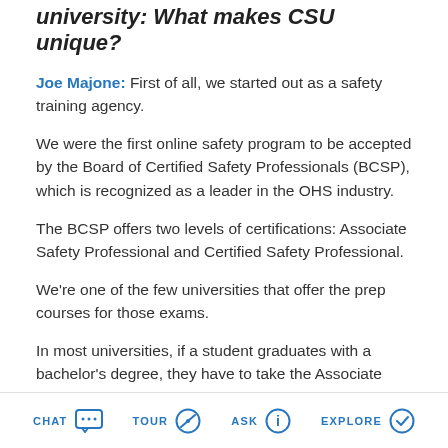university: What makes CSU unique?
Joe Majone: First of all, we started out as a safety training agency.
We were the first online safety program to be accepted by the Board of Certified Safety Professionals (BCSP), which is recognized as a leader in the OHS industry.
The BCSP offers two levels of certifications: Associate Safety Professional and Certified Safety Professional.
We're one of the few universities that offer the prep courses for those exams.
In most universities, if a student graduates with a bachelor's degree, they have to take the Associate Safety Professional (ASP) exam.
CHAT  TOUR  ASK  EXPLORE